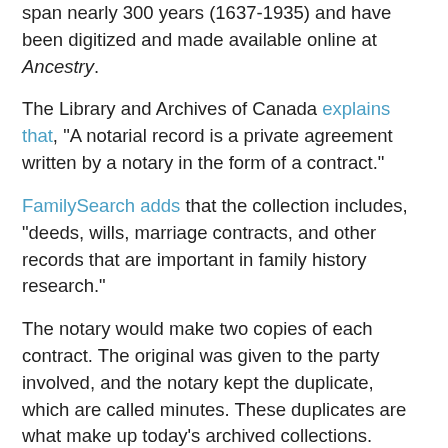span nearly 300 years (1637-1935) and have been digitized and made available online at Ancestry.
The Library and Archives of Canada explains that, "A notarial record is a private agreement written by a notary in the form of a contract."
FamilySearch adds that the collection includes, "deeds, wills, marriage contracts, and other records that are important in family history research."
The notary would make two copies of each contract. The original was given to the party involved, and the notary kept the duplicate, which are called minutes. These duplicates are what make up today's archived collections.
Notarial record outlines family relationships
Diane kindly pointed me to the collection and a couple documents that featured George. These records were deeds of sale, which suggested George was a man of sufficient means to purchase property.